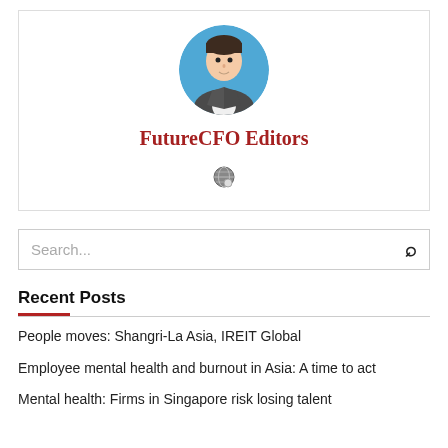[Figure (illustration): Profile avatar of a business person in a suit with red tie, inside a blue circle, representing FutureCFO Editors]
FutureCFO Editors
[Figure (other): Small globe/website icon]
Search...
Recent Posts
People moves: Shangri-La Asia, IREIT Global
Employee mental health and burnout in Asia: A time to act
Mental health: Firms in Singapore risk losing talent